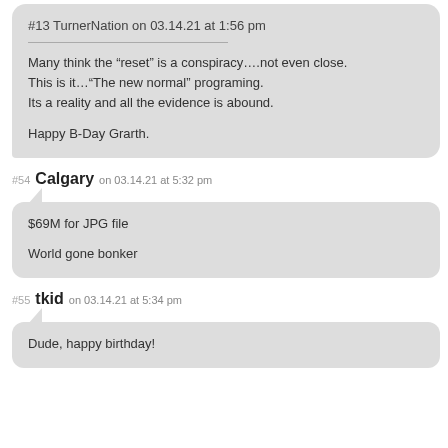#13 TurnerNation on 03.14.21 at 1:56 pm
Many think the “reset” is a conspiracy….not even close.
This is it…“The new normal” programing.
Its a reality and all the evidence is abound.

Happy B-Day Grarth.
#54 Calgary on 03.14.21 at 5:32 pm
$69M for JPG file

World gone bonker
#55 tkid on 03.14.21 at 5:34 pm
Dude, happy birthday!